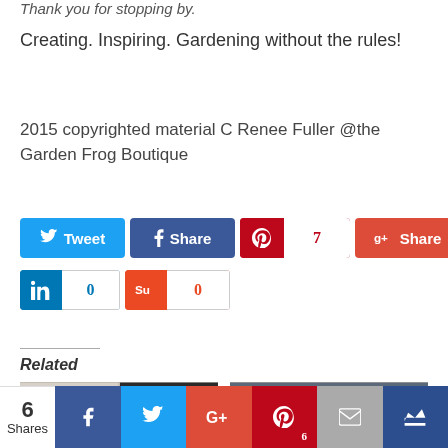Thank you for stopping by.
Creating. Inspiring. Gardening without the rules!
2015 copyrighted material C Renee Fuller @the Garden Frog Boutique
[Figure (other): Social share buttons row 1: Tweet (Twitter, blue), Share (Facebook, dark blue), Pinterest count=7, G+ Share (Google Plus, red-orange)]
[Figure (other): Social share buttons row 2: LinkedIn count=0, StumbleUpon count=0]
Related
[Figure (photo): Two related article thumbnail images side by side: left shows an interior with curtain pattern and watermark 'www.thegardenfrogboutique.com', right shows a kitchen interior with dark cabinets and wooden table]
[Figure (other): Bottom social share bar with count 6 Shares, Facebook, Twitter, Google+, Pinterest (6), Email, Crown icon buttons]